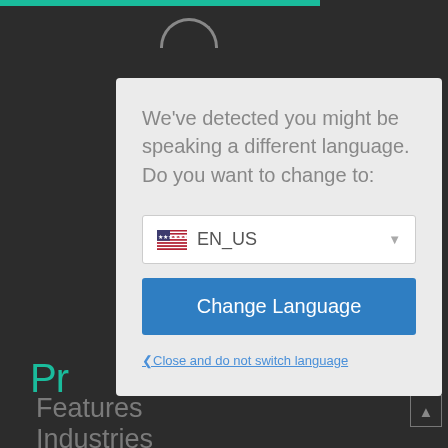[Figure (screenshot): Dark website background with teal accent bar at top, partially visible navigation elements including a search field and search button, green 'Pr' text (truncated 'Products'), and menu items 'Features' and 'Industries']
We've detected you might be speaking a different language. Do you want to change to:
EN_US
Change Language
❮Close and do not switch language